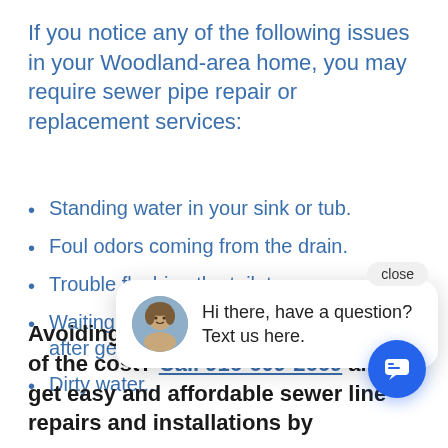If you notice any of the following issues in your Woodland-area home, you may require sewer pipe repair or replacement services:
Standing water in your sink or tub.
Foul odors coming from the drain.
Trouble flushing the toilet.
Waiting a long time for the toilet to refill after getting flushed.
Dirty water...
Avoiding sewer line service because of the cost? Call 916-609-2669 and get easy and affordable sewer line repairs and installations by
[Figure (screenshot): Chat popup with woman avatar, message 'Hi there, have a question? Text us here.' and close button, plus circular chat button]